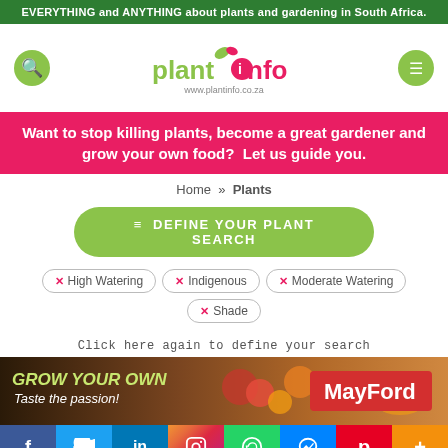EVERYTHING and ANYTHING about plants and gardening in South Africa.
[Figure (logo): Plantinfo logo with search and menu icons]
Want to stop killing plants, become a great gardener and grow your own food?  Let us guide you.
Home » Plants
≡ DEFINE YOUR PLANT SEARCH
× High Watering
× Indigenous
× Moderate Watering
× Shade
Click here again to define your search
[Figure (photo): MayFord Grow Your Own Taste the passion advertisement banner with vegetables]
Social media bar: Facebook, Twitter, LinkedIn, Instagram, WhatsApp, Messenger, Pinterest, More